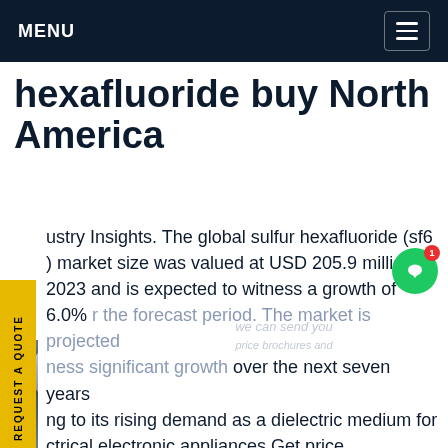MENU
hexafluoride buy North America
Industry Insights. The global sulfur hexafluoride (sf6) market size was valued at USD 205.9 million in 2023 and is expected to witness a growth of 6.0% over the forecast period. The market is projected to witness significant growth over the next seven years owing to its rising demand as a dielectric medium for electrical electronic appliances.Get price
[Figure (photo): Industrial photo showing large gray cylindrical pipes/pressure vessels in a warehouse or factory setting, with a worker in blue hardhat visible, and yellow industrial equipment on the right side.]